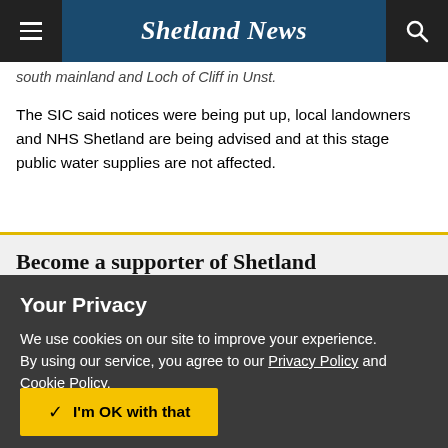Shetland News
south mainland and Loch of Cliff in Unst.
The SIC said notices were being put up, local landowners and NHS Shetland are being advised and at this stage public water supplies are not affected.
Become a supporter of Shetland
Your Privacy

We use cookies on our site to improve your experience.
By using our service, you agree to our Privacy Policy and Cookie Policy.

I'm OK with that